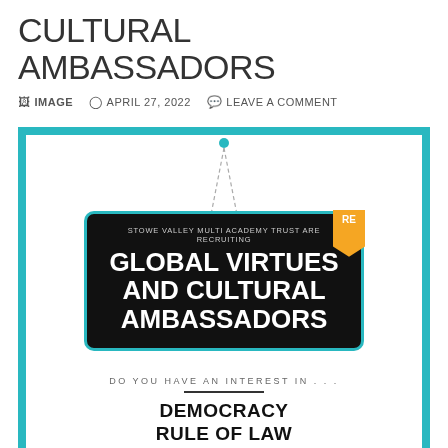CULTURAL AMBASSADORS
IMAGE  APRIL 27, 2022  LEAVE A COMMENT
[Figure (infographic): A decorative infographic with a teal/cyan border and white interior, featuring a hanging sign on a black background with teal border that reads: 'STOWE VALLEY MULTI ACADEMY TRUST ARE RECRUITING GLOBAL VIRTUES AND CULTURAL AMBASSADORS'. An orange bookmark-style badge in the top-right reads 'RE'. Below the sign: 'DO YOU HAVE AN INTEREST IN . . .' followed by a horizontal line, then 'DEMOCRACY' and 'RULE OF LAW'.]